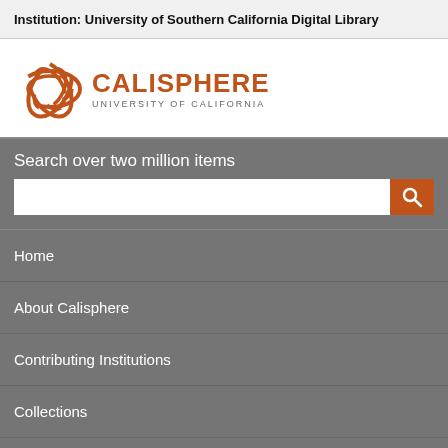Institution: University of Southern California Digital Library
[Figure (logo): Calisphere logo with circular orange graphic and text 'CALISPHERE UNIVERSITY OF CALIFORNIA']
Search over two million items
Home
About Calisphere
Contributing Institutions
Collections
Exhibitions